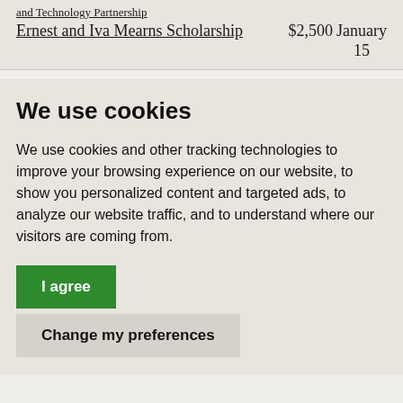and Technology Partnership
| Scholarship | Amount | Deadline |
| --- | --- | --- |
| Ernest and Iva Mearns Scholarship | $2,500 | January 15 |
We use cookies
We use cookies and other tracking technologies to improve your browsing experience on our website, to show you personalized content and targeted ads, to analyze our website traffic, and to understand where our visitors are coming from.
I agree
Change my preferences